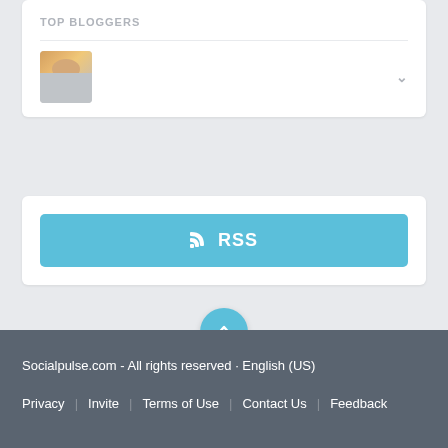TOP BLOGGERS
[Figure (photo): Blogger avatar thumbnail showing a person's face/photo]
[Figure (infographic): RSS subscription button with RSS icon and text]
[Figure (infographic): Back to top circular button with upward chevron arrow]
Socialpulse.com - All rights reserved · English (US)
Privacy | Invite | Terms of Use | Contact Us | Feedback